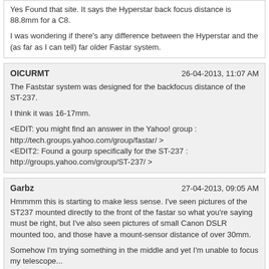Yes Found that site. It says the Hyperstar back focus distance is 88.8mm for a C8.

I was wondering if there's any difference between the Hyperstar and the (as far as I can tell) far older Fastar system.
OICURMT | 26-04-2013, 11:07 AM
The Faststar system was designed for the backfocus distance of the ST-237.

I think it was 16-17mm.

<EDIT: you might find an answer in the Yahoo! group : http://tech.groups.yahoo.com/group/fastar/ >
<EDIT2: Found a gourp specifically for the ST-237 : http://groups.yahoo.com/group/ST-237/ >
Garbz | 27-04-2013, 09:05 AM
Hmmmm this is starting to make less sense. I've seen pictures of the ST237 mounted directly to the front of the fastar so what you're saying must be right, but I've also seen pictures of small Canon DSLR mounted too, and those have a mount-sensor distance of over 30mm.

Somehow I'm trying something in the middle and yet I'm unable to focus my telescope...

:shrug:
peter_4059 | 27-04-2013, 09:52 AM
Chris,

Might be worth having a chat to Marc. He has hyperstar on a C11 with a QHY8.